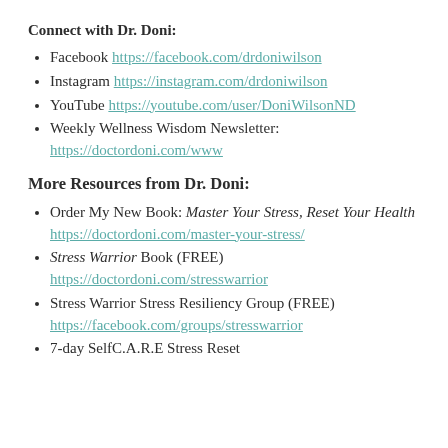Connect with Dr. Doni:
Facebook https://facebook.com/drdoniwilson
Instagram https://instagram.com/drdoniwilson
YouTube https://youtube.com/user/DoniWilsonND
Weekly Wellness Wisdom Newsletter: https://doctordoni.com/www
More Resources from Dr. Doni:
Order My New Book: Master Your Stress, Reset Your Health https://doctordoni.com/master-your-stress/
Stress Warrior Book (FREE) https://doctordoni.com/stresswarrior
Stress Warrior Stress Resiliency Group (FREE) https://facebook.com/groups/stresswarrior
7-day SelfC.A.R.E Stress Reset